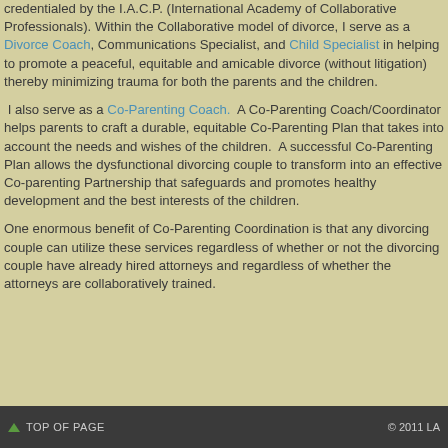credentialed by the I.A.C.P. (International Academy of Collaborative Professionals). Within the Collaborative model of divorce, I serve as a Divorce Coach, Communications Specialist, and Child Specialist in helping to promote a peaceful, equitable and amicable divorce (without litigation) thereby minimizing trauma for both the parents and the children.
I also serve as a Co-Parenting Coach. A Co-Parenting Coach/Coordinator helps parents to craft a durable, equitable Co-Parenting Plan that takes into account the needs and wishes of the children. A successful Co-Parenting Plan allows the dysfunctional divorcing couple to transform into an effective Co-parenting Partnership that safeguards and promotes healthy development and the best interests of the children.
One enormous benefit of Co-Parenting Coordination is that any divorcing couple can utilize these services regardless of whether or not the divorcing couple have already hired attorneys and regardless of whether the attorneys are collaboratively trained.
▲ TOP OF PAGE   © 2011 LA